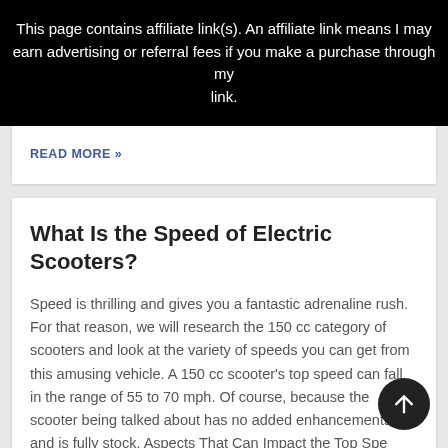This page contains affiliate link(s). An affiliate link means I may earn advertising or referral fees if you make a purchase through my link.
READ MORE »
What Is the Speed of Electric Scooters?
Speed is thrilling and gives you a fantastic adrenaline rush. For that reason, we will research the 150 cc category of scooters and look at the variety of speeds you can get from this amusing vehicle. A 150 cc scooter's top speed can fall in the range of 55 to 70 mph. Of course, because the scooter being talked about has no added enhancements and is fully stock. Aspects That Can Impact the Top Speed